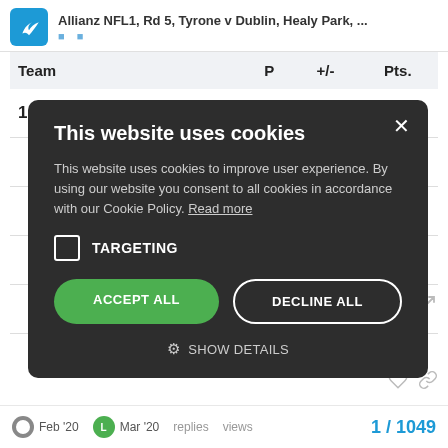Allianz NFL1, Rd 5, Tyrone v Dublin, Healy Park, ...
| Team | P | +/- | Pts. |
| --- | --- | --- | --- |
| 1  Galway | 4 | 20 | 6 |
|  |  |  | 6 |
|  |  |  | 5 |
|  |  |  | 5 |
|  |  |  | 4 |
This website uses cookies

This website uses cookies to improve user experience. By using our website you consent to all cookies in accordance with our Cookie Policy. Read more

☐ TARGETING

[ACCEPT ALL]  [DECLINE ALL]

⚙ SHOW DETAILS
Feb '20   Mar '20   replies   views   1 / 1049